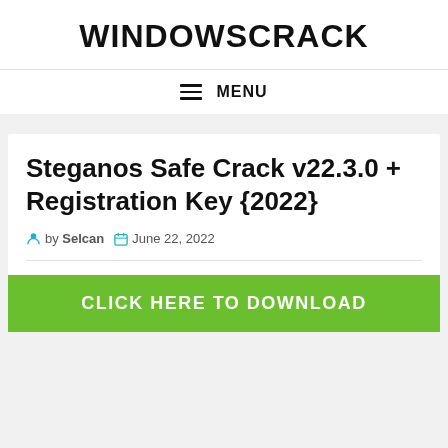WINDOWSCRACK
MENU
Steganos Safe Crack v22.3.0 + Registration Key {2022}
by Selcan  June 22, 2022
CLICK HERE TO DOWNLOAD